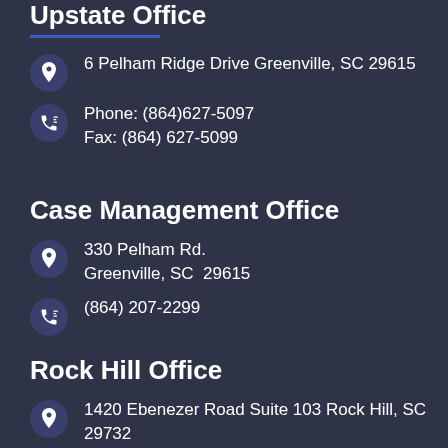Upstate Office
6 Pelham Ridge Drive Greenville, SC 29615
Phone: (864)627-5097
Fax: (864) 627-5099
Case Management Office
330 Pelham Rd.
Greenville, SC  29615
(864) 207-2299
Rock Hill Office
1420 Ebenezer Road Suite 103 Rock Hill, SC 29732
Phone: (803)366-8434